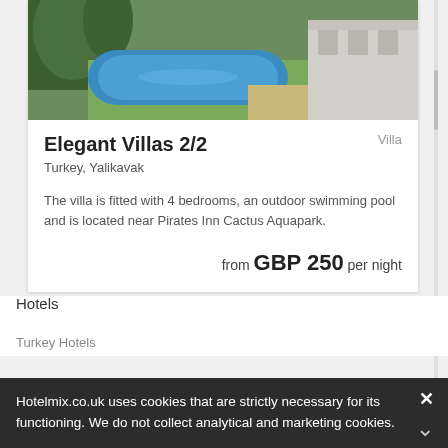[Figure (photo): Outdoor swimming pool with green garden and building in background]
Villa
Elegant Villas 2/2
Turkey, Yalikavak
The villa is fitted with 4 bedrooms, an outdoor swimming pool and is located near Pirates Inn Cactus Aquapark.
from GBP 250 per night
Hotels
Turkey Hotels
Hotelmix.co.uk uses cookies that are strictly necessary for its functioning. We do not collect analytical and marketing cookies.